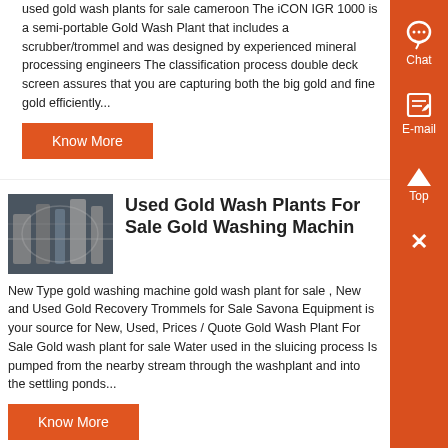used gold wash plants for sale cameroon The iCON IGR 1000 is a semi-portable Gold Wash Plant that includes a scrubber/trommel and was designed by experienced mineral processing engineers The classification process double deck screen assures that you are capturing both the big gold and fine gold efficiently...
Know More
Used Gold Wash Plants For Sale Gold Washing Machin
New Type gold washing machine gold wash plant for sale , New and Used Gold Recovery Trommels for Sale Savona Equipment is your source for New, Used, Prices / Quote Gold Wash Plant For Sale Gold wash plant for sale Water used in the sluicing process Is pumped from the nearby stream through the washplant and into the settling ponds...
Know More